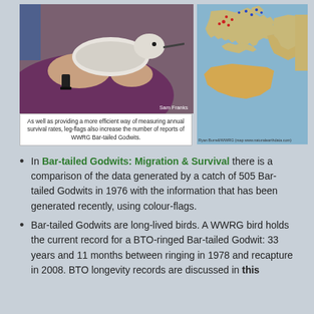[Figure (photo): Person in purple top holding a wading bird (Bar-tailed Godwit) with leg flag attached. Credit: Sam Franks.]
As well as providing a more efficient way of measuring annual survival rates, leg-flags also increase the number of reports of WWRG Bar-tailed Godwits.
[Figure (map): Map of Europe and Asia showing distribution/migration points of Bar-tailed Godwits. Credit: Ryan Burrell/WWRG (map www.naturalearthdata.com)]
In Bar-tailed Godwits: Migration & Survival there is a comparison of the data generated by a catch of 505 Bar-tailed Godwits in 1976 with the information that has been generated recently, using colour-flags.
Bar-tailed Godwits are long-lived birds. A WWRG bird holds the current record for a BTO-ringed Bar-tailed Godwit: 33 years and 11 months between ringing in 1978 and recapture in 2008. BTO longevity records are discussed in this